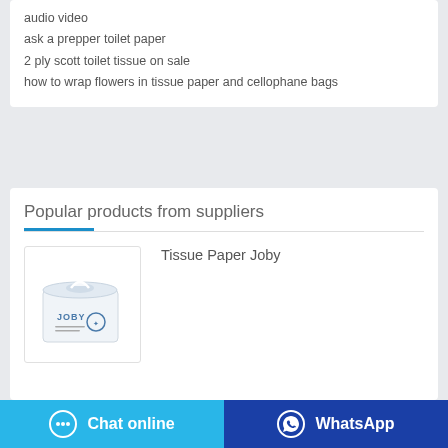audio video
ask a prepper toilet paper
2 ply scott toilet tissue on sale
how to wrap flowers in tissue paper and cellophane bags
Popular products from suppliers
Tissue Paper Joby
[Figure (photo): Product photo of Tissue Paper Joby box — a white square tissue box with JOBY branding]
Chat online
WhatsApp